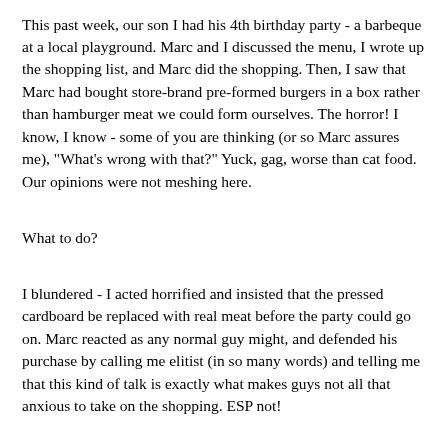This past week, our son I had his 4th birthday party - a barbeque at a local playground. Marc and I discussed the menu, I wrote up the shopping list, and Marc did the shopping. Then, I saw that Marc had bought store-brand pre-formed burgers in a box rather than hamburger meat we could form ourselves. The horror! I know, I know - some of you are thinking (or so Marc assures me), "What's wrong with that?" Yuck, gag, worse than cat food. Our opinions were not meshing here.
What to do?
I blundered - I acted horrified and insisted that the pressed cardboard be replaced with real meat before the party could go on. Marc reacted as any normal guy might, and defended his purchase by calling me elitist (in so many words) and telling me that this kind of talk is exactly what makes guys not all that anxious to take on the shopping. ESP not!
What could I have done differently? Happily serve what I thought was really bad food to our guests? I could have. But I think that doesn't have to be the answer. Serving good food (even simple hamburgers) is really important to me. Deliberately serving bad food was not Marc's goal, and he didn't buy the boxed meat just to tick me off - he just thought he'd found something convenient at the grocery store that would fit the bill. He didn't prefer his purchase over my opinion. But...